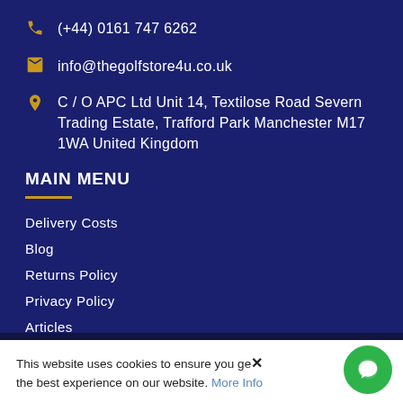(+44) 0161 747 6262
info@thegolfstore4u.co.uk
C / O APC Ltd Unit 14, Textilose Road Severn Trading Estate, Trafford Park Manchester M17 1WA United Kingdom
MAIN MENU
Delivery Costs
Blog
Returns Policy
Privacy Policy
Articles
USEFUL LINKS
About Us
This website uses cookies to ensure you get the best experience on our website. More Info